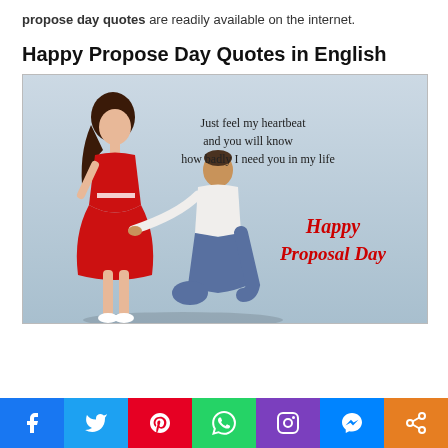propose day quotes are readily available on the internet.
Happy Propose Day Quotes in English
[Figure (photo): A romantic scene showing a woman in a red dress standing while a man in a white shirt kneels before her on a light blue sky background. Text reads: 'Just feel my heartbeat and you will know how badly I need you in my life' with 'Happy Proposal Day' in red cursive script.]